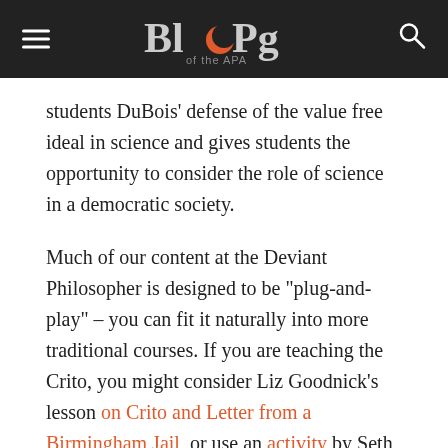Blog of the APA
students DuBois’ defense of the value free ideal in science and gives students the opportunity to consider the role of science in a democratic society.
Much of our content at the Deviant Philosopher is designed to be “plug-and-play” – you can fit it naturally into more traditional courses. If you are teaching the Crito, you might consider Liz Goodnick’s lesson on Crito and Letter from a Birmingham Jail, or use an activity by Seth Robertson that looks at how the first chapter of the Bhagavad Gita examines a similar problem to the Crito – what one’s obligations are to a society when